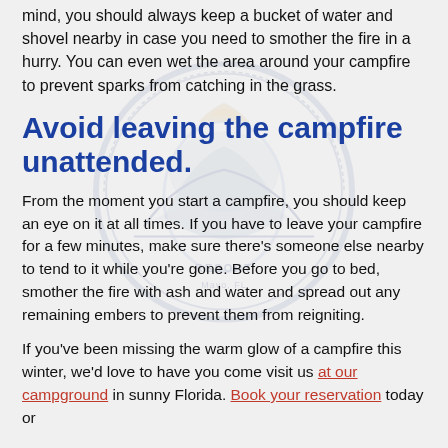mind, you should always keep a bucket of water and shovel nearby in case you need to smother the fire in a hurry. You can even wet the area around your campfire to prevent sparks from catching in the grass.
Avoid leaving the campfire unattended.
From the moment you start a campfire, you should keep an eye on it at all times. If you have to leave your campfire for a few minutes, make sure there's someone else nearby to tend to it while you're gone. Before you go to bed, smother the fire with ash and water and spread out any remaining embers to prevent them from reigniting.
If you've been missing the warm glow of a campfire this winter, we'd love to have you come visit us at our campground in sunny Florida. Book your reservation today or